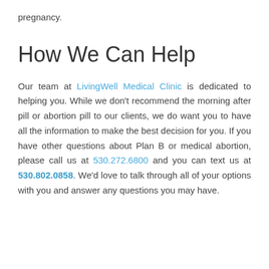pregnancy.
How We Can Help
Our team at LivingWell Medical Clinic is dedicated to helping you. While we don't recommend the morning after pill or abortion pill to our clients, we do want you to have all the information to make the best decision for you. If you have other questions about Plan B or medical abortion, please call us at 530.272.6800 and you can text us at 530.802.0858. We'd love to talk through all of your options with you and answer any questions you may have.